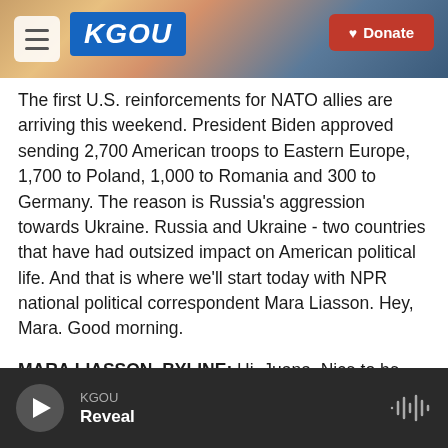KGOU | Donate
The first U.S. reinforcements for NATO allies are arriving this weekend. President Biden approved sending 2,700 American troops to Eastern Europe, 1,700 to Poland, 1,000 to Romania and 300 to Germany. The reason is Russia's aggression towards Ukraine. Russia and Ukraine - two countries that have had outsized impact on American political life. And that is where we'll start today with NPR national political correspondent Mara Liasson. Hey, Mara. Good morning.
MARA LIASSON, BYLINE: Hi, Juana. Nice to be here with you.
KGOU | Reveal